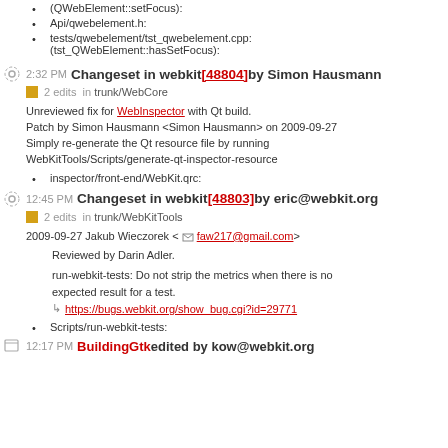(QWebElement::setFocus):
Api/qwebelement.h:
tests/qwebelement/tst_qwebelement.cpp: (tst_QWebElement::hasSetFocus):
2:32 PM Changeset in webkit [48804] by Simon Hausmann
2 edits in trunk/WebCore
Unreviewed fix for WebInspector with Qt build. Patch by Simon Hausmann <Simon Hausmann> on 2009-09-27 Simply re-generate the Qt resource file by running WebKitTools/Scripts/generate-qt-inspector-resource
inspector/front-end/WebKit.qrc:
12:45 PM Changeset in webkit [48803] by eric@webkit.org
2 edits in trunk/WebKitTools
2009-09-27 Jakub Wieczorek <faw217@gmail.com>
Reviewed by Darin Adler.
run-webkit-tests: Do not strip the metrics when there is no expected result for a test.
https://bugs.webkit.org/show_bug.cgi?id=29771
Scripts/run-webkit-tests:
12:17 PM BuildingGtk edited by kow@webkit.org